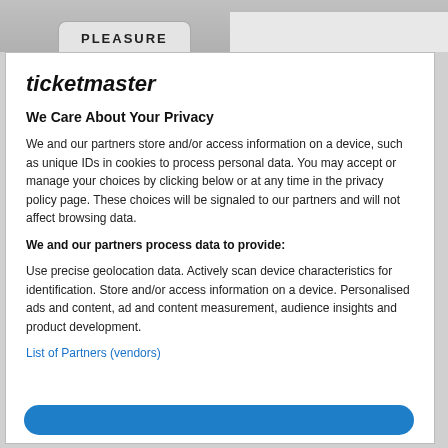[Figure (screenshot): Top banner area with a ticket stub graphic showing the text PLEASURE]
ticketmaster
We Care About Your Privacy
We and our partners store and/or access information on a device, such as unique IDs in cookies to process personal data. You may accept or manage your choices by clicking below or at any time in the privacy policy page. These choices will be signaled to our partners and will not affect browsing data.
We and our partners process data to provide:
Use precise geolocation data. Actively scan device characteristics for identification. Store and/or access information on a device. Personalised ads and content, ad and content measurement, audience insights and product development.
List of Partners (vendors)
[Figure (screenshot): Blue accept button at the bottom of the modal, partially visible]